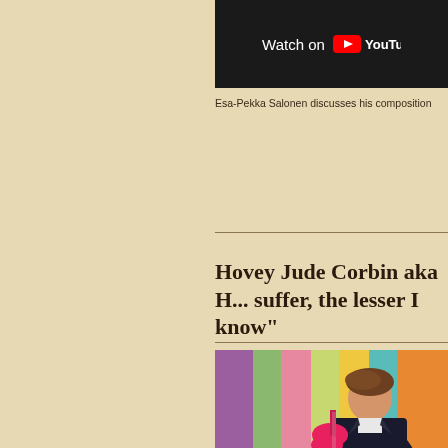[Figure (screenshot): YouTube video thumbnail showing 'Watch on YouTube' button with YouTube logo on dark background]
Esa-Pekka Salonen discusses his composition
Hovey Jude Corbin aka H... suffer, the lesser I know"
[Figure (photo): Young man with brown hair holding a pink/red electric guitar, standing in front of a colorful painted fence with vertical stripes of purple, green, pink, yellow, teal colors. He is wearing a dark denim jacket over a white shirt.]